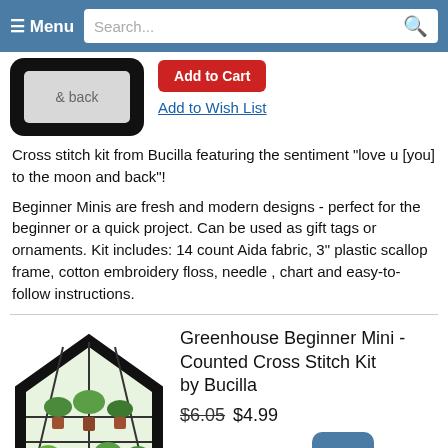Menu | Search...
[Figure (photo): Cross stitch kit in black rounded frame showing partial text '& back']
Add to Wish List
Cross stitch kit from Bucilla featuring the sentiment "love u [you] to the moon and back"!
Beginner Minis are fresh and modern designs - perfect for the beginner or a quick project. Can be used as gift tags or ornaments. Kit includes: 14 count Aida fabric, 3" plastic scallop frame, cotton embroidery floss, needle , chart and easy-to-follow instructions.
[Figure (photo): Greenhouse shaped cross stitch kit in black frame with cactus and plant designs]
Greenhouse Beginner Mini - Counted Cross Stitch Kit by Bucilla
$6.05 $4.99
Add to Cart
Top